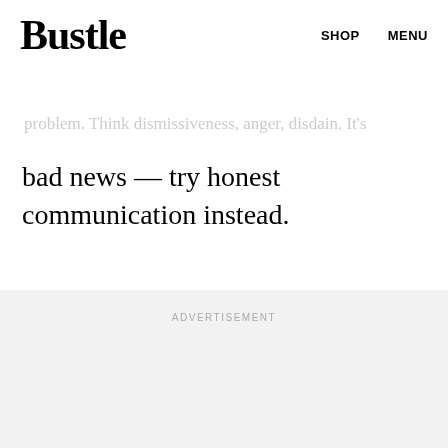Bustle  SHOP  MENU
each other with contempt  the  problem. Think dismissiveness, anger, disdain. It's
bad news — try honest communication instead.
ADVERTISEMENT